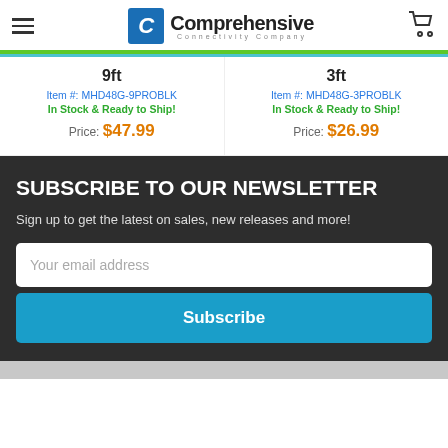Comprehensive Connectivity Company
9ft
Item #: MHD48G-9PROBLK
In Stock & Ready to Ship!
Price: $47.99
3ft
Item #: MHD48G-3PROBLK
In Stock & Ready to Ship!
Price: $26.99
SUBSCRIBE TO OUR NEWSLETTER
Sign up to get the latest on sales, new releases and more!
Your email address
Subscribe